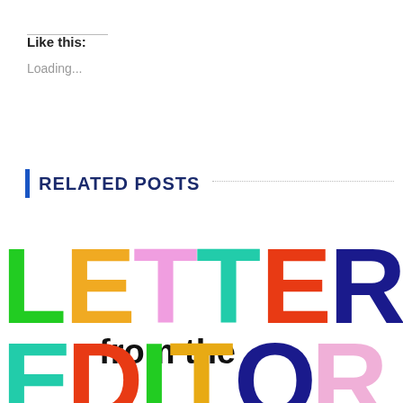Like this:
Loading...
RELATED POSTS
[Figure (illustration): Colorful large block letters spelling 'LETTER from the EDITOR' in various bright colors (green, orange, pink, teal, red, dark blue) on white background, with text 'from the' in black bold between the two word rows. The bottom row 'EDITOR' is partially cropped.]